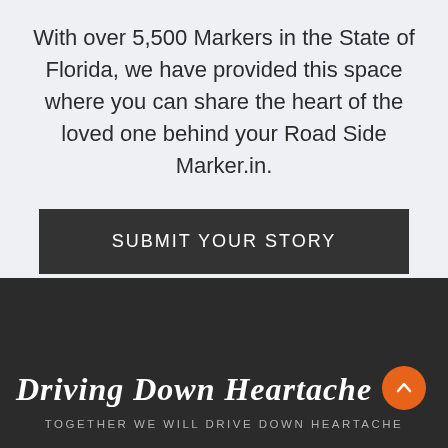With over 5,500 Markers in the State of Florida, we have provided this space where you can share the heart of the loved one behind your Road Side Marker.in.
SUBMIT YOUR STORY
Driving Down Heartache
TOGETHER WE WILL DRIVE DOWN HEARTACHE